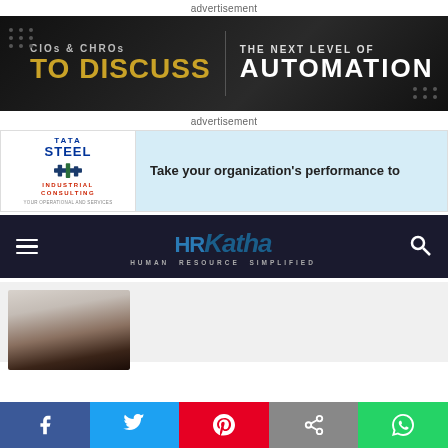advertisement
[Figure (infographic): Dark banner ad: CIOs & CHROs TO DISCUSS | THE NEXT LEVEL OF AUTOMATION]
advertisement
[Figure (infographic): Tata Steel Industrial Consulting banner ad: Take your organization's performance to]
[Figure (logo): HRKatha - Human Resource Simplified navigation bar with hamburger menu and search icon]
[Figure (photo): Partial photo of a person's face/head]
[Figure (infographic): Social sharing bar: Facebook, Twitter, Pinterest, Share, WhatsApp buttons]